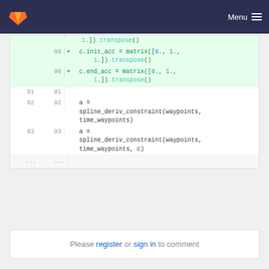[Figure (screenshot): GitLab navigation header with logo and Menu hamburger icon on dark navy background]
Code diff viewer showing lines 89-93 and ellipsis. Lines 89-90 are added (green): c.init_acc = matrix([0., 1., 1.]).transpose() and c.end_acc = matrix([0., 1., 1.]).transpose(). Lines 91-93 context: blank line, a = spline_deriv_constraint(waypoints, time_waypoints), a = spline_deriv_constraint(waypoints, time_waypoints, c). Ellipsis rows at bottom.
Please register or sign in to comment